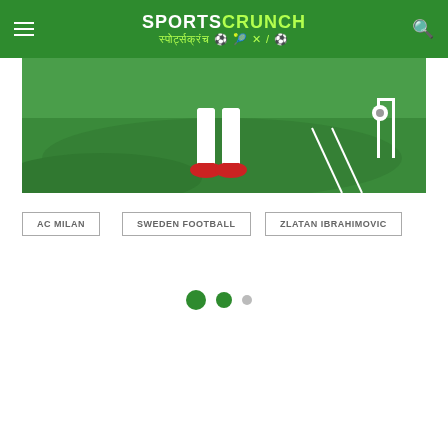SPORTS CRUNCH — स्पोर्ट्सक्रंच
[Figure (photo): Close-up of a footballer's legs in white socks and red boots on a green football pitch, with goal posts and a ball visible in the background.]
AC MILAN
SWEDEN FOOTBALL
ZLATAN IBRAHIMOVIC
[Figure (infographic): Pagination dots: two large filled green circles and one small grey dot, indicating a carousel/slider position indicator.]